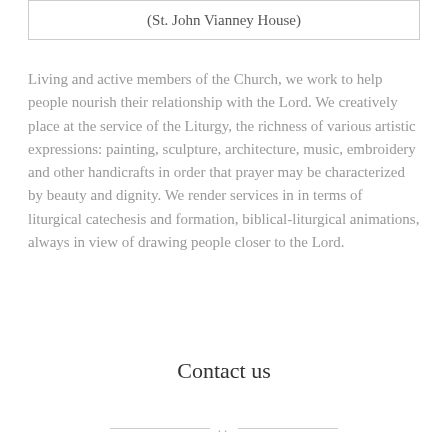(St. John Vianney House)
Living and active members of the Church, we work to help people nourish their relationship with the Lord. We creatively place at the service of the Liturgy, the richness of various artistic expressions: painting, sculpture, architecture, music, embroidery and other handicrafts in order that prayer may be characterized by beauty and dignity. We render services in in terms of liturgical catechesis and formation, biblical-liturgical animations, always in view of drawing people closer to the Lord.
Contact us